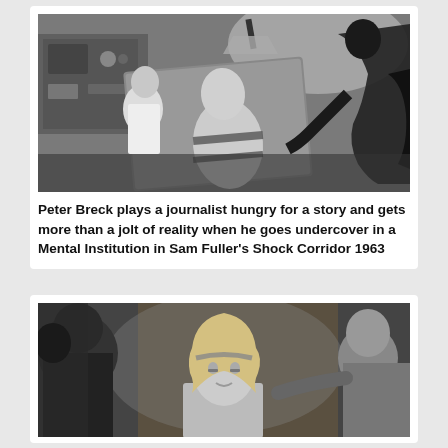[Figure (photo): Black and white still from the 1963 film Shock Corridor. A man is strapped to an angled board/chair, shirtless and restrained. A man in a white shirt stands behind him. Dark silhouettes of figures are visible on the right. A lamp is visible overhead.]
Peter Breck plays a journalist hungry for a story and gets more than a jolt of reality when he goes undercover in a Mental Institution in Sam Fuller's Shock Corridor 1963
[Figure (photo): Black and white still from a film. A blonde woman with a headband is in the foreground looking slightly dazed. Figures are visible around her in a dimly lit setting.]